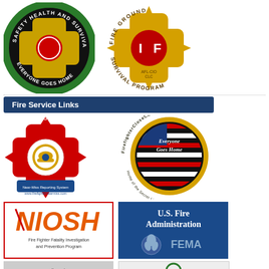[Figure (logo): Safety Health and Survival Section - Everyone Goes Home circular badge/patch (black background, fire service cross)]
[Figure (logo): Fire Ground Survival Program - IAFF AFL-CIO CLC badge/logo]
Fire Service Links
[Figure (logo): National Fire Fighter Near-Miss Reporting System badge - www.firefighternearmiss.com]
[Figure (logo): FirefighterCloseCalls.com - Everyone Goes Home - Home of the Secret List badge]
[Figure (logo): NIOSH - Fire Fighter Fatality Investigation and Prevention Program logo (red border box, orange NIOSH text)]
[Figure (logo): U.S. Fire Administration / FEMA logo (blue background)]
[Figure (logo): Partially visible logo at bottom left]
[Figure (logo): Partially visible logo at bottom right]